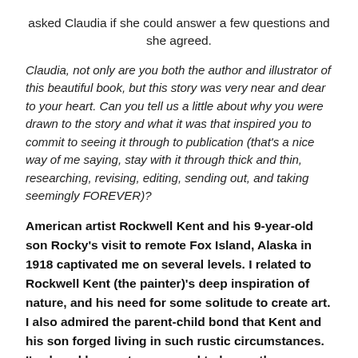asked Claudia if she could answer a few questions and she agreed.
Claudia, not only are you both the author and illustrator of this beautiful book, but this story was very near and dear to your heart. Can you tell us a little about why you were drawn to the story and what it was that inspired you to commit to seeing it through to publication (that's a nice way of me saying, stay with it through thick and thin, researching, revising, editing, sending out, and taking seemingly FOREVER)?
American artist Rockwell Kent and his 9-year-old son Rocky's visit to remote Fox Island, Alaska in 1918 captivated me on several levels. I related to Rockwell Kent (the painter)'s deep inspiration of nature, and his need for some solitude to create art. I also admired the parent-child bond that Kent and his son forged living in such rustic circumstances. I've loved how nature seemed to be another character in the story and relished trying to express that visually. I knew the base of the story was a timeless example of the power of nature on